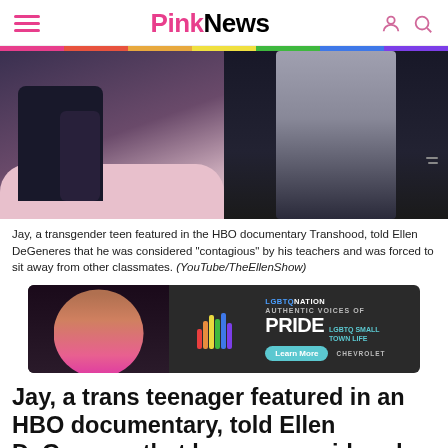PinkNews
[Figure (photo): Split photo: left side shows a person with dark hair sitting on a pink sofa wearing dark clothes; right side shows a person in a black top against a dark background]
Jay, a transgender teen featured in the HBO documentary Transhood, told Ellen DeGeneres that he was considered “contagious” by his teachers and was forced to sit away from other classmates. (YouTube/TheEllenShow)
[Figure (infographic): LGBTQ Nation advertisement: Authentic Voices of Pride, LGBTQ Small Town Life, Learn More, Chevrolet. Features a drag performer on the left and colorful bar chart graphic.]
Jay, a trans teenager featured in an HBO documentary, told Ellen DeGeneres that he was considered